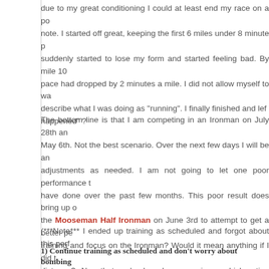due to my great conditioning I could at least end my race on a positive note. I started off great, keeping the first 6 miles under 8 minute pace suddenly started to lose my form and started feeling bad. By mile 10 my pace had dropped by 2 minutes a mile. I did not allow myself to walk. I describe what I was doing as "running". I finally finished and left "what happened" ?
The bottom line is that I am competing in an Ironman on July 28th and bombed May 6th. Not the best scenario. Over the next few days I will be analyzing adjustments as needed. I am not going to let one poor performance take away have done over the past few months. This poor result does bring up consider the Mooseman Half Ironman on June 3rd to attempt to get a better performance training and focus on the Ironman? Would it mean anything if I did well at that distance? Now that you've heard my experience which option below would you (comment below to help me decide!)
(***Note*** I ended up training as scheduled and forgot about this performance
1) Continue training as scheduled and don't worry about bombing